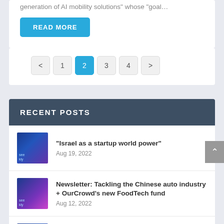generation of AI mobility solutions” whose “goal…
READ MORE
< 1 2 3 4 >
RECENT POSTS
[Figure (photo): Thumbnail image for Israel as a startup world power article]
“Israel as a startup world power”
Aug 19, 2022
[Figure (photo): Thumbnail image for Newsletter: Tackling the Chinese auto industry article]
Newsletter: Tackling the Chinese auto industry + OurCrowd’s new FoodTech fund
Aug 12, 2022
[Figure (photo): Thumbnail image for Newsletter: Quantum opportunity article]
Newsletter: Quantum opportunity + Investing in the dip